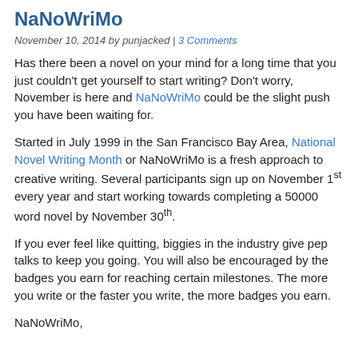NaNoWriMo
November 10, 2014 by punjacked | 3 Comments
Has there been a novel on your mind for a long time that you just couldn't get yourself to start writing? Don't worry, November is here and NaNoWriMo could be the slight push you have been waiting for.
Started in July 1999 in the San Francisco Bay Area, National Novel Writing Month or NaNoWriMo is a fresh approach to creative writing. Several participants sign up on November 1st every year and start working towards completing a 50000 word novel by November 30th.
If you ever feel like quitting, biggies in the industry give pep talks to keep you going. You will also be encouraged by the badges you earn for reaching certain milestones. The more you write or the faster you write, the more badges you earn.
NaNoWriMo,